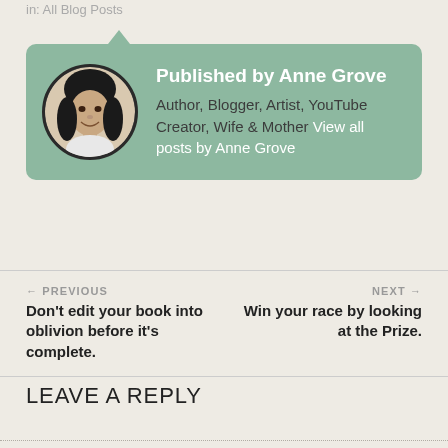in: All Blog Posts
[Figure (other): Author bio card with circular portrait photo of Anne Grove (woman with dark hair) on a green background, with name and description text]
Published by Anne Grove Author, Blogger, Artist, YouTube Creator, Wife & Mother View all posts by Anne Grove
← PREVIOUS
Don't edit your book into oblivion before it's complete.
NEXT →
Win your race by looking at the Prize.
LEAVE A REPLY